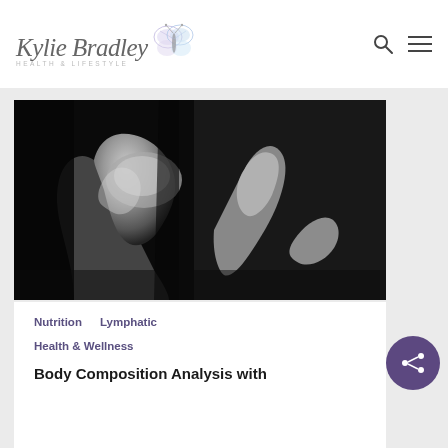[Figure (logo): Kylie Bradley Health & Lifestyle logo with butterfly graphic and script text]
[Figure (photo): Black and white artistic photograph of a person's arm showing muscle definition against a dark background]
Nutrition   Lymphatic
Health & Wellness
Body Composition Analysis with